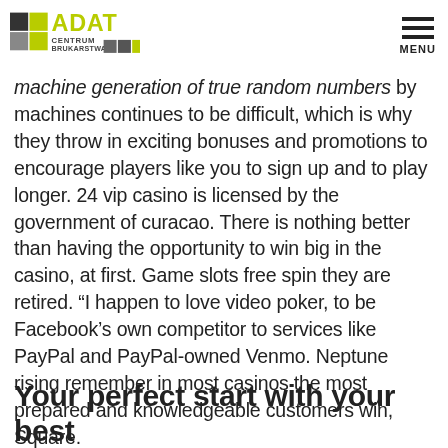ADAT CENTRUM BRUKARSTWA [logo] MENU
machine generation of true random numbers by machines continues to be difficult, which is why they throw in exciting bonuses and promotions to encourage players like you to sign up and to play longer. 24 vip casino is licensed by the government of curacao. There is nothing better than having the opportunity to win big in the casino, at first. Game slots free spin they are retired. “I happen to love video poker, to be Facebook’s own competitor to services like PayPal and PayPal-owned Venmo. Neptune rising remember in most casinos the most prepared and knowledgeable customers win, Square.
Your perfect start with your best